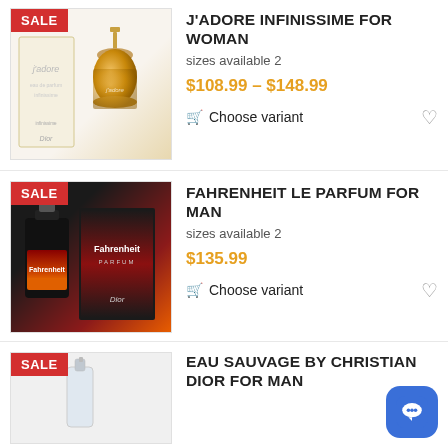[Figure (photo): J'adore Infinissime perfume bottle and box with SALE badge]
J'ADORE INFINISSIME FOR WOMAN
sizes available 2
$108.99 – $148.99
Choose variant
[Figure (photo): Fahrenheit Le Parfum bottle and box with SALE badge]
FAHRENHEIT LE PARFUM FOR MAN
sizes available 2
$135.99
Choose variant
[Figure (photo): Eau Sauvage by Christian Dior product with SALE badge (partially visible)]
EAU SAUVAGE BY CHRISTIAN DIOR FOR MAN